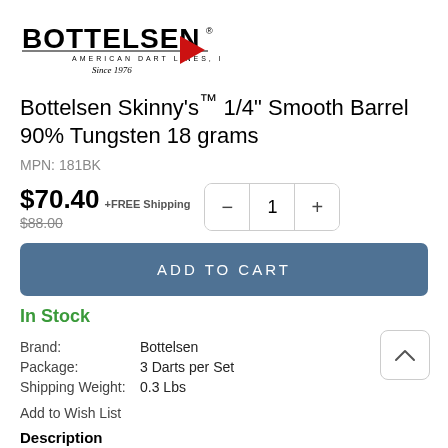[Figure (logo): Bottelsen American Dart Lines Inc. Since 1976 logo with red arrow]
Bottelsen Skinny's™ 1/4" Smooth Barrel 90% Tungsten 18 grams
MPN: 181BK
$70.40 +FREE Shipping
$88.00
ADD TO CART
In Stock
| Brand: | Bottelsen |
| Package: | 3 Darts per Set |
| Shipping Weight: | 0.3 Lbs |
Add to Wish List
Description